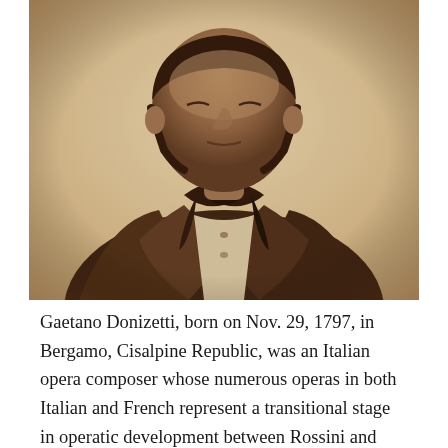[Figure (photo): Sepia-toned historical photograph of Gaetano Donizetti, showing him from torso up, wearing a dark jacket and large cravat/bow tie, head tilted back slightly.]
Gaetano Donizetti, born on Nov. 29, 1797, in Bergamo, Cisalpine Republic, was an Italian opera composer whose numerous operas in both Italian and French represent a transitional stage in operatic development between Rossini and Verdi. Among his major works are Lucia di Lammermoor (1835), La fille du régiment (1840), and La